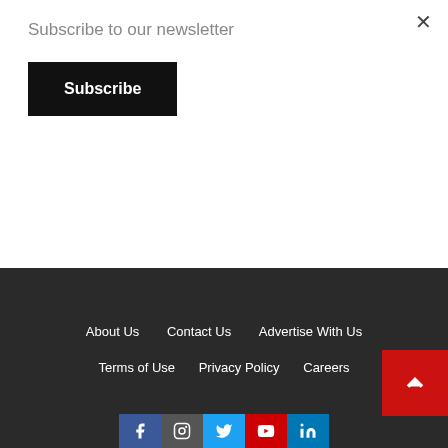Subscribe to our newsletter
Subscribe
×
Local industry suffering due to influx of smuggled foreign flour – Awingobit
1 day ago  Bernice Noi Tetteh
About Us  Contact Us  Advertise With Us  Terms of Use  Privacy Policy  Careers